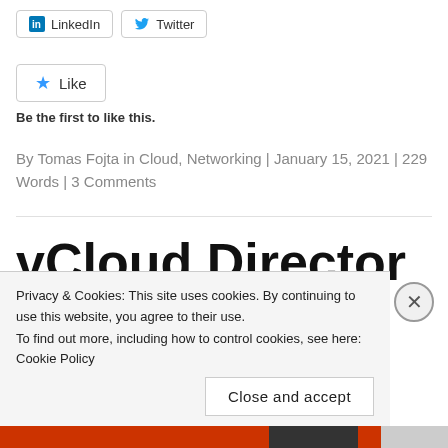[Figure (other): LinkedIn and Twitter social share buttons]
[Figure (other): Like button with star icon]
Be the first to like this.
By Tomas Fojta in Cloud, Networking | January 15, 2021 | 229 Words | 3 Comments
vCloud Director 9.7 Appli...
Privacy & Cookies: This site uses cookies. By continuing to use this website, you agree to their use.
To find out more, including how to control cookies, see here: Cookie Policy
Close and accept